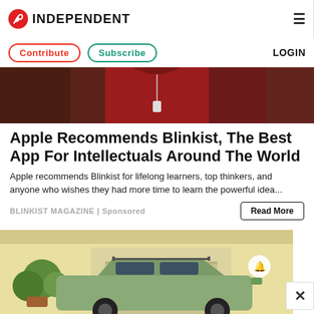INDEPENDENT
Contribute | Subscribe | LOGIN
[Figure (photo): Person in red hoodie holding a phone, partially cropped]
Apple Recommends Blinkist, The Best App For Intellectuals Around The World
Apple recommends Blinkist for lifelong learners, top thinkers, and anyone who wishes they had more time to learn the powerful idea...
BLINKIST MAGAZINE | Sponsored
[Figure (photo): Green pickup truck parked in driveway in front of garage with bush and house visible]